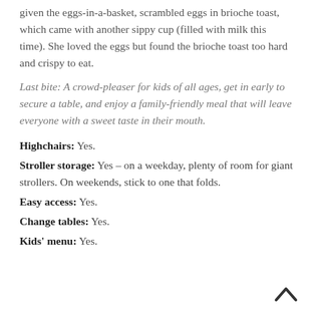given the eggs-in-a-basket, scrambled eggs in brioche toast, which came with another sippy cup (filled with milk this time). She loved the eggs but found the brioche toast too hard and crispy to eat.
Last bite: A crowd-pleaser for kids of all ages, get in early to secure a table, and enjoy a family-friendly meal that will leave everyone with a sweet taste in their mouth.
Highchairs: Yes.
Stroller storage: Yes – on a weekday, plenty of room for giant strollers. On weekends, stick to one that folds.
Easy access: Yes.
Change tables: Yes.
Kids' menu: Yes.